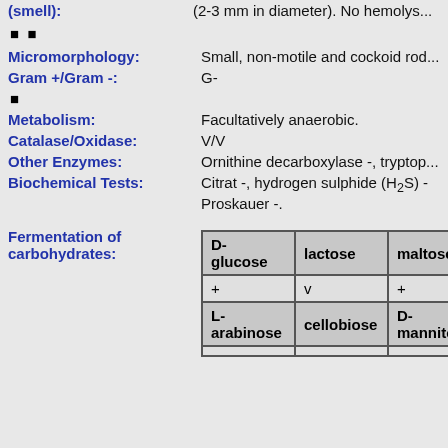(smell): (2-3 mm in diameter). No hemolys...
■ ■
Micromorphology: Small, non-motile and cockoid rod...
Gram +/Gram -: G-
■
Metabolism: Facultatively anaerobic.
Catalase/Oxidase: V/V
Other Enzymes: Ornithine decarboxylase -, tryptop...
Biochemical Tests: Citrat -, hydrogen sulphide (H₂S) - Proskauer -.
| D-glucose | lactose | maltose |
| --- | --- | --- |
| + | v | + |
| L-arabinose | cellobiose | D-mannito... |